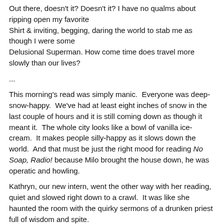Out there, doesn't it? Doesn't it? I have no qualms about ripping open my favorite
Shirt & inviting, begging, daring the world to stab me as though I were some
Delusional Superman. How come time does travel more slowly than our lives?
...
This morning's read was simply manic.  Everyone was deep-snow-happy.  We've had at least eight inches of snow in the last couple of hours and it is still coming down as though it meant it.  The whole city looks like a bowl of vanilla ice-cream.  It makes people silly-happy as it slows down the world.  And that must be just the right mood for reading No Soap, Radio! because Milo brought the house down, he was operatic and howling.
Kathryn, our new intern, went the other way with her reading, quiet and slowed right down to a crawl.  It was like she haunted the room with the quirky sermons of a drunken priest full of wisdom and spite.